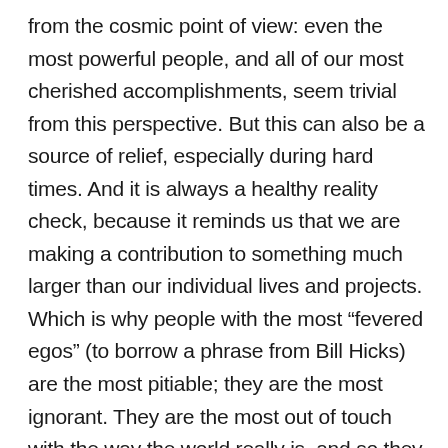from the cosmic point of view: even the most powerful people, and all of our most cherished accomplishments, seem trivial from this perspective. But this can also be a source of relief, especially during hard times. And it is always a healthy reality check, because it reminds us that we are making a contribution to something much larger than our individual lives and projects. Which is why people with the most “fevered egos” (to borrow a phrase from Bill Hicks) are the most pitiable; they are the most ignorant. They are the most out of touch with the way the world really is, and so they cannot recognize just how wondrous it is to be given the gift of life at all. Aurelius’ idea